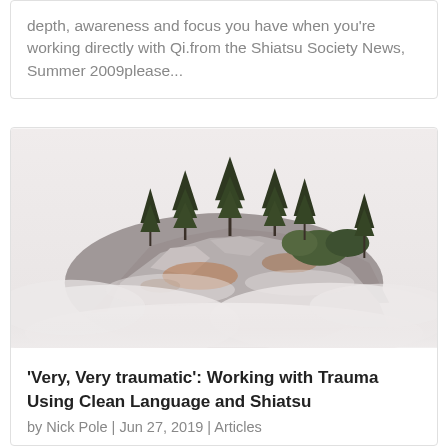depth, awareness and focus you have when you're working directly with Qi.from the Shiatsu Society News, Summer 2009please...
[Figure (photo): Rocky hilltop with trees emerging from misty fog, monochrome-toned landscape photograph]
'Very, Very traumatic': Working with Trauma Using Clean Language and Shiatsu
by Nick Pole | Jun 27, 2019 | Articles